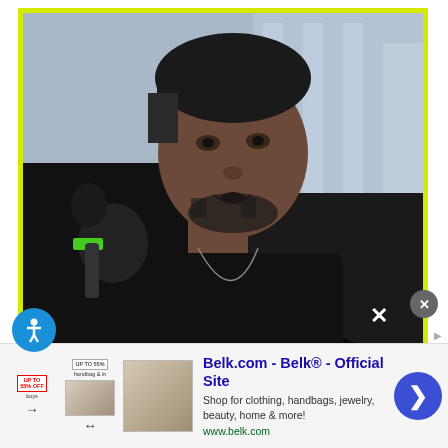[Figure (photo): A man wearing black gloves holding a microphone up to his mouth, singing or speaking, wearing a black t-shirt and a necklace, photographed outdoors against a blurred building background. The photo is framed with a bright yellow-green border.]
[Figure (screenshot): An advertisement bar at the bottom of the page for Belk.com - Belk Official Site. Shows small product thumbnail images on the left, bold blue ad title 'Belk.com - Belk® - Official Site', description text 'Shop for clothing, handbags, jewelry, beauty, home & more!', green URL 'www.belk.com', and a blue circular arrow button on the right. There is also a gray X close button and an accessibility icon.]